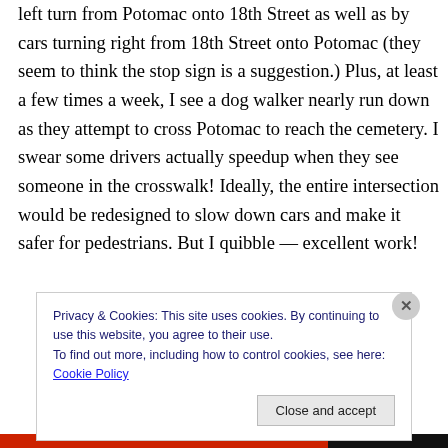left turn from Potomac onto 18th Street as well as by cars turning right from 18th Street onto Potomac (they seem to think the stop sign is a suggestion.) Plus, at least a few times a week, I see a dog walker nearly run down as they attempt to cross Potomac to reach the cemetery. I swear some drivers actually speedup when they see someone in the crosswalk! Ideally, the entire intersection would be redesigned to slow down cars and make it safer for pedestrians. But I quibble — excellent work!
Privacy & Cookies: This site uses cookies. By continuing to use this website, you agree to their use.
To find out more, including how to control cookies, see here: Cookie Policy